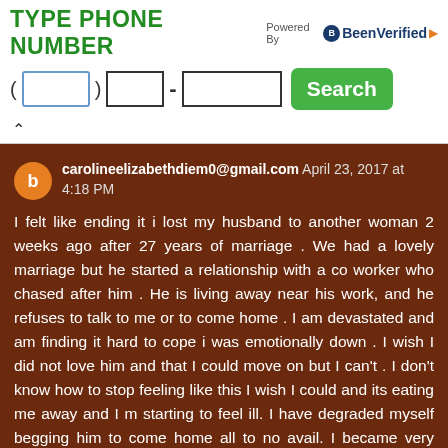TYPE PHONE NUMBER
Powered By BeenVerified
[Figure (screenshot): Phone number input form with area code, prefix, and number fields plus a green Search button]
carolineelizabethdiem0@gmail.com  April 23, 2017 at 4:18 PM
I felt like ending it i lost my husband to another woman 2 weeks ago after 27 years of marriage . We had a lovely marriage but he started a relationship with a co worker who chased after him . He is living away near his work, and he refuses to talk to me or to come home . I am devastated and am finding it hard to cope i was emotionally down . I wish I did not love him and that I could move on but I can't . I don't know how to stop feeling like this I wish I could and its eating me away and I m starting to feel ill. I have degraded myself begging him to come home all to no avail. I became very worried and needed help. As I was browsing through the internet one day, I came across a website that suggested that Dr Noble can help solve marital problems, restore broken relationships and I also came across